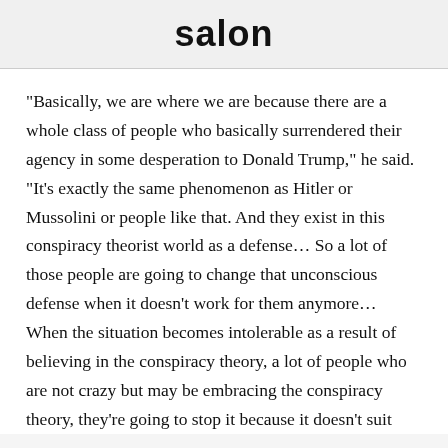salon
"Basically, we are where we are because there are a whole class of people who basically surrendered their agency in some desperation to Donald Trump," he said. "It's exactly the same phenomenon as Hitler or Mussolini or people like that. And they exist in this conspiracy theorist world as a defense… So a lot of those people are going to change that unconscious defense when it doesn't work for them anymore… When the situation becomes intolerable as a result of believing in the conspiracy theory, a lot of people who are not crazy but may be embracing the conspiracy theory, they're going to stop it because it doesn't suit